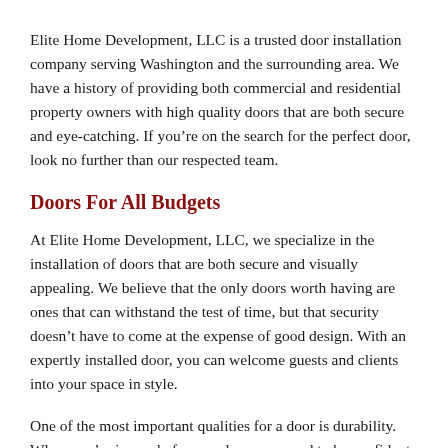Elite Home Development, LLC is a trusted door installation company serving Washington and the surrounding area. We have a history of providing both commercial and residential property owners with high quality doors that are both secure and eye-catching. If you're on the search for the perfect door, look no further than our respected team.
Doors For All Budgets
At Elite Home Development, LLC, we specialize in the installation of doors that are both secure and visually appealing. We believe that the only doors worth having are ones that can withstand the test of time, but that security doesn't have to come at the expense of good design. With an expertly installed door, you can welcome guests and clients into your space in style.
One of the most important qualities for a door is durability. When you're in need of a new door, you need to be confident it can hold